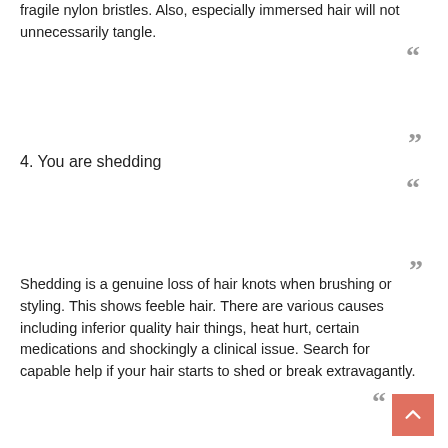fragile nylon bristles. Also, especially immersed hair will not unnecessarily tangle.
“”
“”
4. You are shedding
“”
“”
Shedding is a genuine loss of hair knots when brushing or styling. This shows feeble hair. There are various causes including inferior quality hair things, heat hurt, certain medications and shockingly a clinical issue. Search for capable help if your hair starts to shed or break extravagantly.
“”